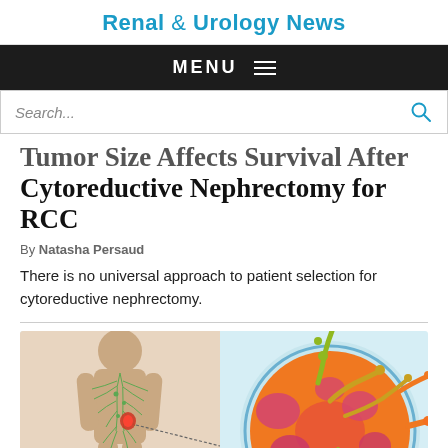Renal & Urology News
MENU
Search...
Tumor Size Affects Survival After Cytoreductive Nephrectomy for RCC
By Natasha Persaud
There is no universal approach to patient selection for cytoreductive nephrectomy.
[Figure (illustration): Medical illustration showing a human body outline with lymphatic system highlighted in green and a kidney tumor highlighted in red/orange, with an enlarged cross-sectional view of the kidney tumor showing internal orange and pink tissue structures against a light blue background.]